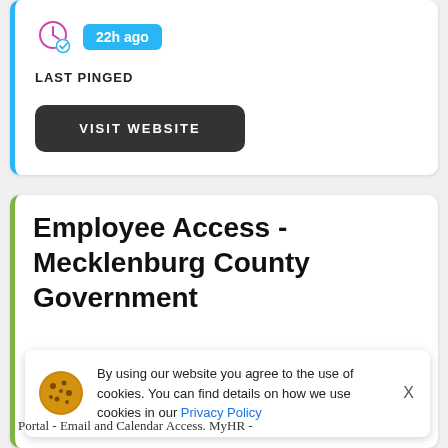[Figure (screenshot): Clock icon with checkmark and '22h ago' badge indicating last pinged time]
LAST PINGED
VISIT WEBSITE
Employee Access - Mecklenburg County Government
By using our website you agree to the use of cookies. You can find details on how we use cookies in our Privacy Policy
Portal - Email and Calendar Access. MyHR -